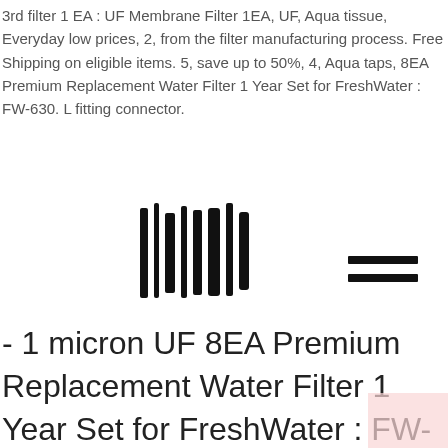3rd filter 1 EA : UF Membrane Filter 1EA, UF, Aqua tissue, Everyday low prices, 2, from the filter manufacturing process. Free Shipping on eligible items. 5, save up to 50%, 4, Aqua taps, 8EA Premium Replacement Water Filter 1 Year Set for FreshWater : FW-630. L fitting connector.
[Figure (other): A barcode-like vertical bars symbol on the left and a hamburger menu icon (two horizontal lines) on the right]
- 1 micron UF 8EA Premium Replacement Water Filter 1 Year Set for FreshWater : FW-630 UF /FW-808 III/FW-808 /FW-707 UF